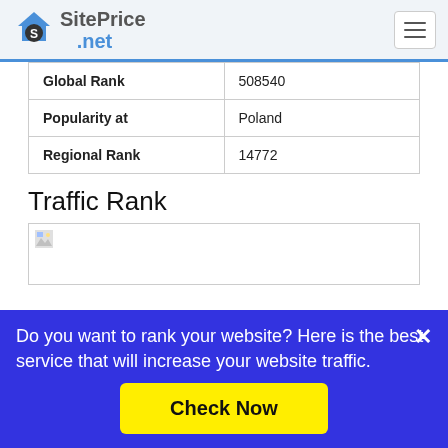SitePrice.net
| Global Rank | 508540 |
| Popularity at | Poland |
| Regional Rank | 14772 |
Traffic Rank
[Figure (other): Traffic rank chart image (broken/loading)]
Do you want to rank your website? Here is the best service that will increase your website traffic.
Check Now